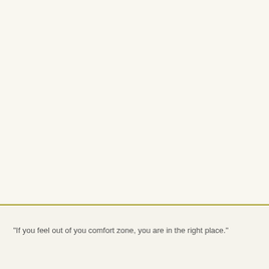"If you feel out of you comfort zone, you are in the right place."